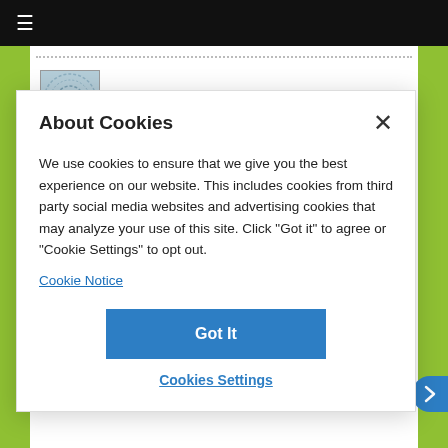≡
[Figure (screenshot): Website screenshot showing article thumbnail and title 'Cooking Comfort Food and Still Look Like']
About Cookies
We use cookies to ensure that we give you the best experience on our website. This includes cookies from third party social media websites and advertising cookies that may analyze your use of this site. Click "Got it" to agree or "Cookie Settings" to opt out.
Cookie Notice
Got It
Cookies Settings